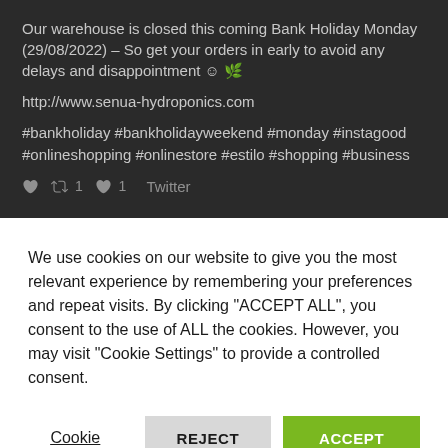Our warehouse is closed this coming Bank Holiday Monday (29/08/2022) – So get your orders in early to avoid any delays and disappointment ☺ 🌿
http://www.senua-hydroponics.com
#bankholiday #bankholidayweekend #monday #instagood #onlineshopping #onlinestore #estilo #shopping #business
♡  🔁 1  ♡ 1  Twitter
We use cookies on our website to give you the most relevant experience by remembering your preferences and repeat visits. By clicking "ACCEPT ALL", you consent to the use of ALL the cookies. However, you may visit "Cookie Settings" to provide a controlled consent.
Cookie Settings   REJECT ALL   ACCEPT ALL